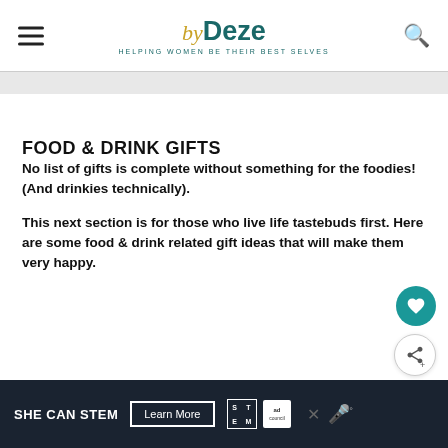byDeze – HELPING WOMEN BE THEIR BEST SELVES
FOOD & DRINK GIFTS
No list of gifts is complete without something for the foodies! (And drinkies technically).
This next section is for those who live life tastebuds first. Here are some food & drink related gift ideas that will make them very happy.
[Figure (other): Advertisement banner: SHE CAN STEM with Learn More button, STEM logo, Ad Council logo, and other icons on dark background]